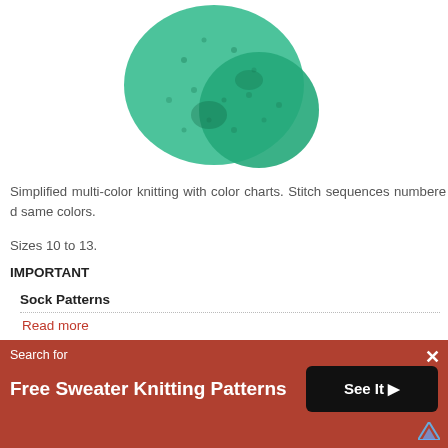[Figure (photo): Green/teal knitted sock or yarn ball, cropped, top portion visible]
Simplified multi-color knitting with color charts. Stitch sequences numbered same colors.
Sizes 10 to 13.
IMPORTANT
Sock Patterns
Read more
Hole-in-One Golf Socks Pattern #7235
This free pattern originally published in: Grace Ennis Graphic Knitting Pa...
[Figure (photo): Teal/blue knitted sock, partially visible at bottom]
Search for
Free Sweater Knitting Patterns
See It >